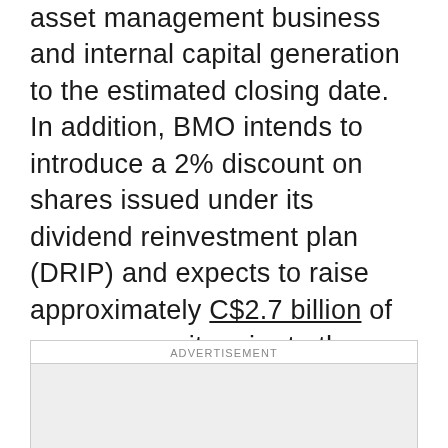asset management business and internal capital generation to the estimated closing date. In addition, BMO intends to introduce a 2% discount on shares issued under its dividend reinvestment plan (DRIP) and expects to raise approximately C$2.7 billion of common equity prior to the closing date. BMO is committed to maintaining its target capital ratios and regular dividends within its target payout range. BMO will not proceed with establishing a normal course issuer bid and does not expect to repurchase shares prior to close.
[Figure (other): Advertisement placeholder box with label 'ADVERTISEMENT' and a grey rectangle below it]